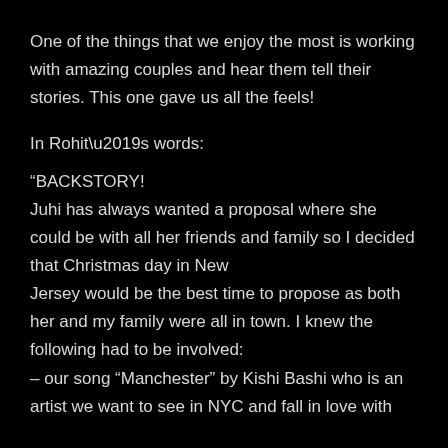One of the things that we enjoy the most is working with amazing couples and hear them tell their stories. This one gave us all the feels!
In Rohit’s words:
“BACKSTORY!
Juhi has always wanted a proposal where she could be with all her friends and family so I decided that Christmas day in New Jersey would be the best time to propose as both her and my family were all in town. I knew the following had to be involved:
– our song “Manchester” by Kishi Bashi who is an artist we want to see in NYC and fall in love with